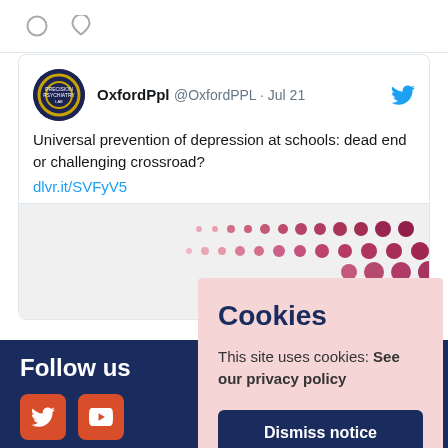[Figure (screenshot): Tweet icons bar with comment bubble and heart icons at top]
OxfordPpl @OxfordPPL · Jul 21
Universal prevention of depression at schools: dead end or challenging crossroad?
dlvr.it/SVFyV5
[Figure (screenshot): Tweet image preview with pink dot pattern]
Follow @Oxfo
Follow us
Cookies
This site uses cookies: See our privacy policy
Dismiss notice